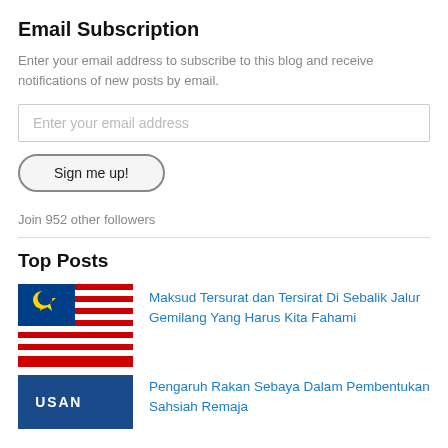Email Subscription
Enter your email address to subscribe to this blog and receive notifications of new posts by email.
Enter your email address
Sign me up!
Join 952 other followers
Top Posts
[Figure (photo): Malaysian flag (Jalur Gemilang) waving]
Maksud Tersurat dan Tersirat Di Sebalik Jalur Gemilang Yang Harus Kita Fahami
[Figure (photo): Blue banner with white text 'USAN' or similar]
Pengaruh Rakan Sebaya Dalam Pembentukan Sahsiah Remaja